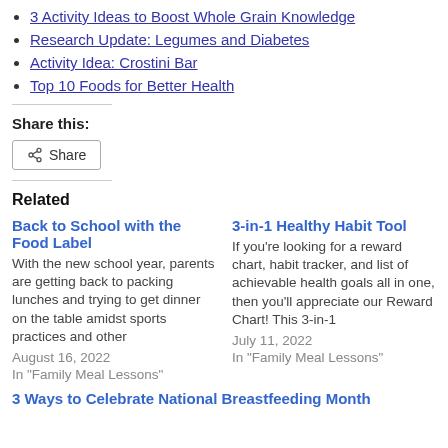3 Activity Ideas to Boost Whole Grain Knowledge
Research Update: Legumes and Diabetes
Activity Idea: Crostini Bar
Top 10 Foods for Better Health
Share this:
Related
Back to School with the Food Label
With the new school year, parents are getting back to packing lunches and trying to get dinner on the table amidst sports practices and other
August 16, 2022
In "Family Meal Lessons"
3-in-1 Healthy Habit Tool
If you're looking for a reward chart, habit tracker, and list of achievable health goals all in one, then you'll appreciate our Reward Chart! This 3-in-1
July 11, 2022
In "Family Meal Lessons"
3 Ways to Celebrate National Breastfeeding Month